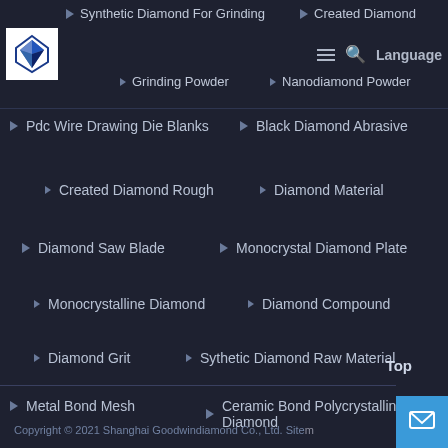[Figure (logo): Diamond company logo with blue/white geometric diamond shape on white background]
Synthetic Diamond For Grinding
Created Diamond
Grinding Powder
Nanodiamond Powder
Pdc Wire Drawing Die Blanks
Black Diamond Abrasive
Created Diamond Rough
Diamond Material
Diamond Saw Blade
Monocrystal Diamond Plate
Monocrystalline Diamond
Diamond Compound
Diamond Grit
Sythetic Diamond Raw Material
Metal Bond Mesh
Ceramic Bond Polycrystalline Diamond
Copyright © 2021 Shanghai Goodwindiamond Co., Ltd. Sitemap